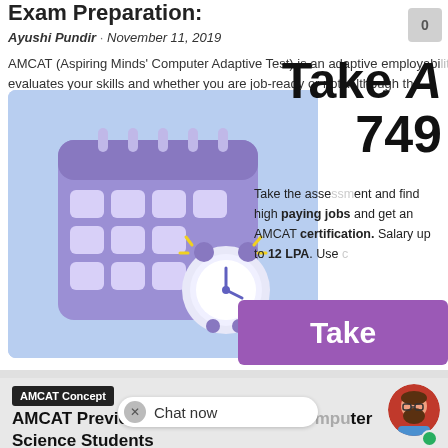Exam Preparation:
Ayushi Pundir · November 11, 2019
AMCAT (Aspiring Minds' Computer Adaptive Test) is an adaptive employability test that evaluates your skills and whether you are job-ready or not. Although the…
[Figure (illustration): 3D illustration of a purple calendar with white date squares and a blue alarm clock in the foreground on a light blue background]
0
Take A
749
Take the assessment and find high paying jobs and get an AMCAT certification. Salary up to 12 LPA. Use
[Figure (other): Purple button with white text reading 'Take']
AMCAT Concept
AMCAT Previous Years Papers for Computer Science Students
Chat now
[Figure (illustration): Cartoon avatar of a bearded man with glasses on orange/red circular background with green online indicator dot]